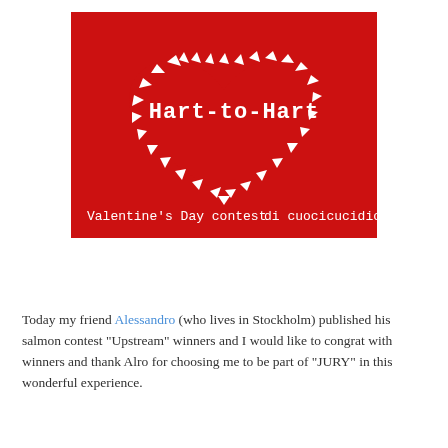[Figure (photo): A Valentine's Day contest image titled 'Hart-to-Hart' by cuocicucidici. Red background with white heart-shaped candies arranged in a heart outline. Text reads 'Hart-to-Hart' in the center, 'Valentine's Day contest' on the bottom left, and 'di cuocicucidici' on the bottom right.]
Today my friend Alessandro (who lives in Stockholm) published his salmon contest "Upstream" winners and I would like to congrat with winners and thank Alro for choosing me to be part of "JURY" in this wonderful experience.